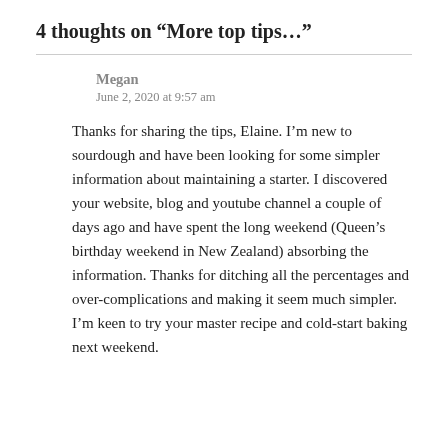4 thoughts on “More top tips…”
Megan
June 2, 2020 at 9:57 am
Thanks for sharing the tips, Elaine. I’m new to sourdough and have been looking for some simpler information about maintaining a starter. I discovered your website, blog and youtube channel a couple of days ago and have spent the long weekend (Queen’s birthday weekend in New Zealand) absorbing the information. Thanks for ditching all the percentages and over-complications and making it seem much simpler. I’m keen to try your master recipe and cold-start baking next weekend.